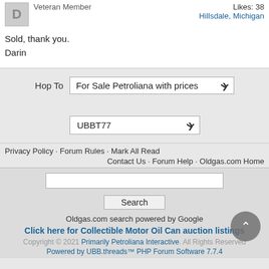Veteran Member
Likes: 38
Hillsdale, Michigan
Sold, thank you.
Darin
Hop To   For Sale Petroliana with prices
UBBT77
Privacy Policy · Forum Rules · Mark All Read
Contact Us · Forum Help · Oldgas.com Home
Oldgas.com search powered by Google
Click here for Collectible Motor Oil Can auction listings
Copyright © 2021 Primarily Petroliana Interactive. All Rights Reserved
Powered by UBB.threads™ PHP Forum Software 7.7.4